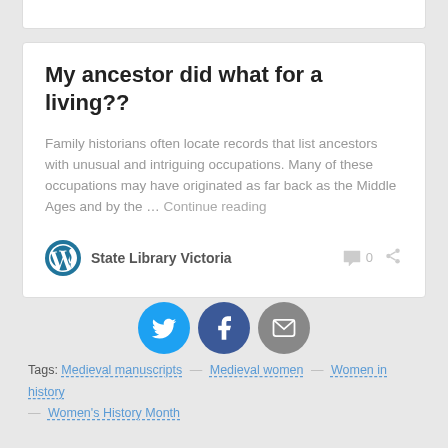My ancestor did what for a living??
Family historians often locate records that list ancestors with unusual and intriguing occupations. Many of these occupations may have originated as far back as the Middle Ages and by the … Continue reading
State Library Victoria  0
[Figure (infographic): Three social sharing buttons: Twitter (blue bird), Facebook (dark blue f), and email (grey envelope)]
Tags: Medieval manuscripts — Medieval women — Women in history — Women's History Month